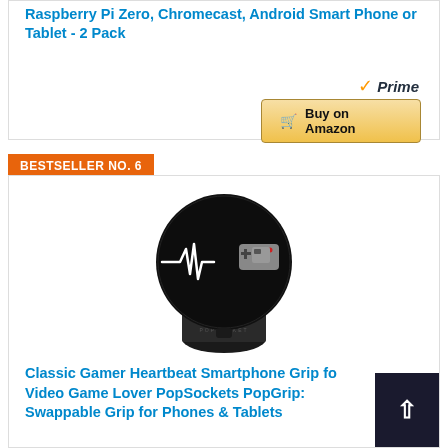Raspberry Pi Zero, Chromecast, Android Smart Phone or Tablet - 2 Pack
[Figure (other): Amazon Prime logo with checkmark and italic 'Prime' text in blue/orange]
[Figure (other): Buy on Amazon button with shopping cart icon, gold/yellow gradient background]
BESTSELLER NO. 6
[Figure (photo): PopSocket product photo: black circular grip with NES controller heartbeat design on a dark cylindrical base with 'POPSOCKET' text around the base]
Classic Gamer Heartbeat Smartphone Grip for Video Game Lover PopSockets PopGrip: Swappable Grip for Phones & Tablets